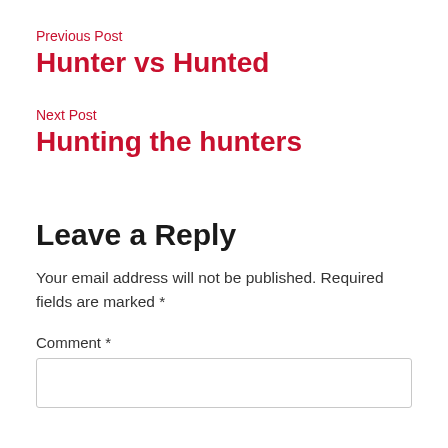Previous Post
Hunter vs Hunted
Next Post
Hunting the hunters
Leave a Reply
Your email address will not be published. Required fields are marked *
Comment *